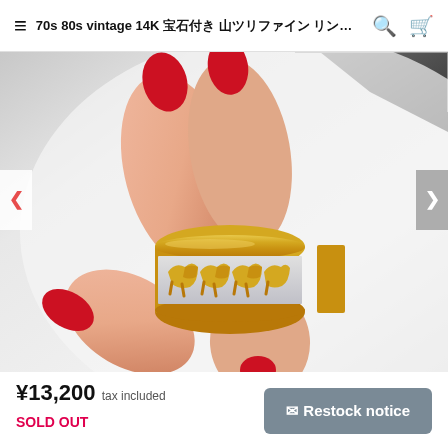70s 80s vintage 14K ｷﾞｮｸ… 🔍 🛒
[Figure (photo): Close-up photo of a hand with red-painted nails holding a vintage 14K gold ring with decorative animal/panther motifs and white enamel band, against a white background.]
¥13,200 tax included
SOLD OUT
✉ Restock notice